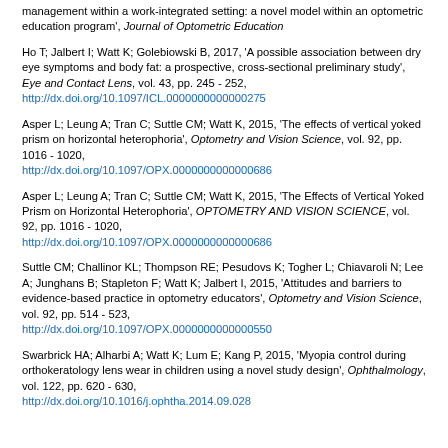management within a work-integrated setting: a novel model within an optometric education program', Journal of Optometric Education
Ho T; Jalbert I; Watt K; Golebiowski B, 2017, 'A possible association between dry eye symptoms and body fat: a prospective, cross-sectional preliminary study', Eye and Contact Lens, vol. 43, pp. 245 - 252, http://dx.doi.org/10.1097/ICL.0000000000000275
Asper L; Leung A; Tran C; Suttle CM; Watt K, 2015, 'The effects of vertical yoked prism on horizontal heterophoria', Optometry and Vision Science, vol. 92, pp. 1016 - 1020, http://dx.doi.org/10.1097/OPX.0000000000000686
Asper L; Leung A; Tran C; Suttle CM; Watt K, 2015, 'The Effects of Vertical Yoked Prism on Horizontal Heterophoria', OPTOMETRY AND VISION SCIENCE, vol. 92, pp. 1016 - 1020, http://dx.doi.org/10.1097/OPX.0000000000000686
Suttle CM; Challinor KL; Thompson RE; Pesudovs K; Togher L; Chiavaroli N; Lee A; Junghans B; Stapleton F; Watt K; Jalbert I, 2015, 'Attitudes and barriers to evidence-based practice in optometry educators', Optometry and Vision Science, vol. 92, pp. 514 - 523, http://dx.doi.org/10.1097/OPX.0000000000000550
Swarbrick HA; Alharbi A; Watt K; Lum E; Kang P, 2015, 'Myopia control during orthokeratology lens wear in children using a novel study design', Ophthalmology, vol. 122, pp. 620 - 630, http://dx.doi.org/10.1016/j.ophtha.2014.09.028